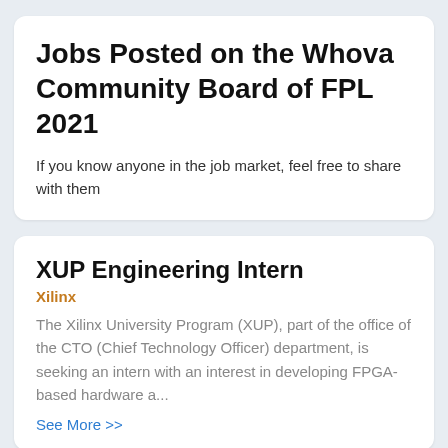Jobs Posted on the Whova Community Board of FPL 2021
If you know anyone in the job market, feel free to share with them
XUP Engineering Intern
Xilinx
The Xilinx University Program (XUP), part of the office of the CTO (Chief Technology Officer) department, is seeking an intern with an interest in developing FPGA-based hardware a...
See More >>